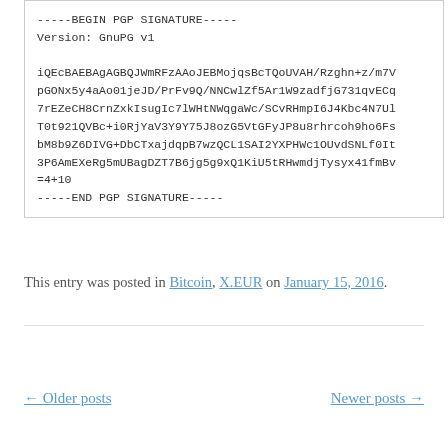-----BEGIN PGP SIGNATURE-----
Version: GnuPG v1

iQEcBAEBAgAGBQJWmRFzAAoJEBMojqsBcTQoUVAH/Rzghn+z/m7V
pGONx5y4aAo01jeJD/PrFv9Q/NNCwlZf5Ar1W9zadfjG731qvECq
7rEZeCH8CrnZxkIsugIc7lWHtNWqgaWc/SCvRHmpI6J4Kbc4N7Ul
T0t921QVBc+i0RjYaV3Y9Y75J8ozG5VtGFyJP8u8rhrcoh9ho6Fs
bM8b9Z6DIVG+DbCTxajdqpB7wzQCL1SAI2YXPHWc1OUvdSNLf0It
3P6AmEXeRg5mUBagDZT7B6jg5g9xQ1KiU5tRHwmdjTysyx41fmBv
=4+10
-----END PGP SIGNATURE-----
This entry was posted in Bitcoin, X.EUR on January 15, 2016.
← Older posts    Newer posts →